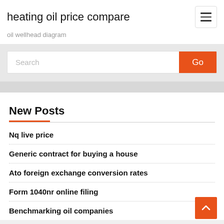heating oil price compare
oil wellhead diagram
Search
New Posts
Nq live price
Generic contract for buying a house
Ato foreign exchange conversion rates
Form 1040nr online filing
Benchmarking oil companies